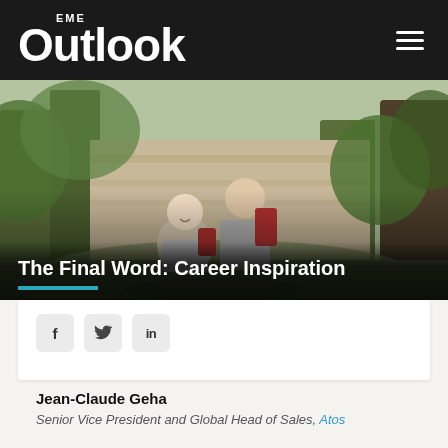EME Outlook
[Figure (photo): A man and a young boy hiking in a forest, both wearing red backpacks, smiling at the camera. Background shows trees and rocky terrain.]
The Final Word: Career Inspiration
f  twitter  in (social share buttons)
Jean-Claude Geha
Senior Vice President and Global Head of Sales, Atos